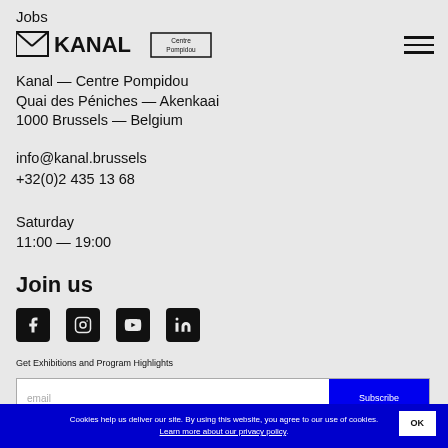Jobs
[Figure (logo): KANAL Centre Pompidou logo with envelope icon and bordered text badge]
Kanal — Centre Pompidou
Quai des Péniches — Akenkaai
1000 Brussels — Belgium
info@kanal.brussels
+32(0)2 435 13 68
Saturday
11:00 — 19:00
Join us
[Figure (infographic): Social media icons: Facebook, Instagram, YouTube, LinkedIn]
Get Exhibitions and Program Highlights
email  Subscribe
Cookies help us deliver our site. By using this website, you agree to our use of cookies. Learn more about our privacy policy.